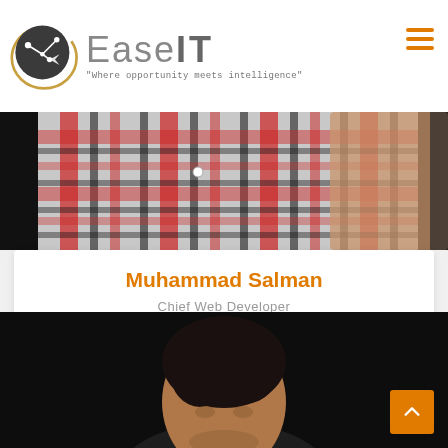[Figure (logo): EaseIT logo with circular dark badge icon showing a network/circuit design with white arrow, gold ring accent, and text 'EaseIT - Where opportunity meets intelligence']
[Figure (photo): Cropped photo of a person wearing a plaid/checkered shirt in red, black, and white; only the torso and arm are visible against a dark background]
Muhammad Salman
Chief Web Developer
[Figure (photo): Partial photo of a person with dark hair against a very dark background, only the top portion visible]